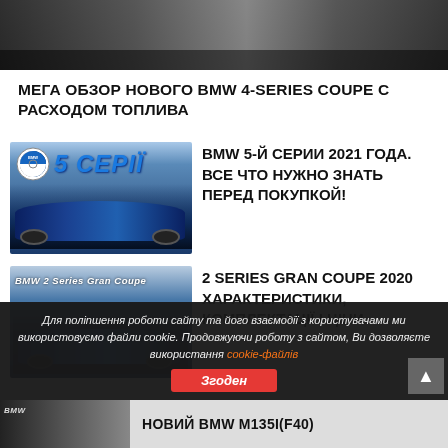[Figure (photo): Top portion of a BMW 4-Series Coupe car photo, showing the roof and upper body]
МЕГА ОБЗОР НОВОГО BMW 4-SERIES COUPE С РАСХОДОМ ТОПЛИВА
[Figure (photo): BMW 5 Series promotional image with logo and '5 СЕРІЇ' text, blue sedan car below]
BMW 5-Й СЕРИИ 2021 ГОДА. ВСЕ ЧТО НУЖНО ЗНАТЬ ПЕРЕД ПОКУПКОЙ!
[Figure (photo): BMW 2 Series Gran Coupe promotional image with blue car in front of a dealership]
2 SERIES GRAN COUPE 2020 ХАРАКТЕРИСТИКИ, КОМПЛЕКТАЦІЇ І ЦІНИ
Для поліпшення роботи сайту та його взаємодії з користувачами ми використовуємо файли cookie. Продовжуючи роботу з сайтом, Ви дозволяєте використання cookie-файлів
НОВИЙ BMW M135I(F40)